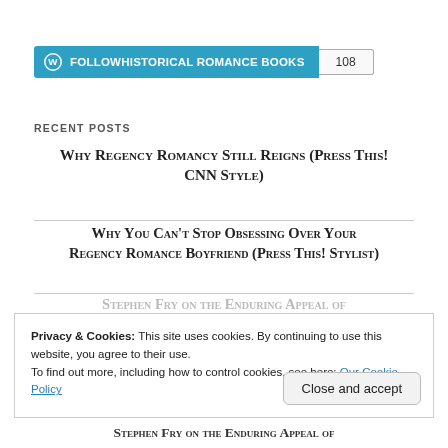[Figure (other): WordPress Follow button for HISTORICAL ROMANCE BOOKS with follower count badge showing 108]
Recent Posts
Why Regency Romancy Still Reigns (Press This! CNN Style)
Why You Can't Stop Obsessing Over Your Regency Romance Boyfriend (Press This! Stylist)
Stephen Fry on the Enduring Appeal of
Privacy & Cookies: This site uses cookies. By continuing to use this website, you agree to their use.
To find out more, including how to control cookies, see here: Our Cookie Policy
Close and accept